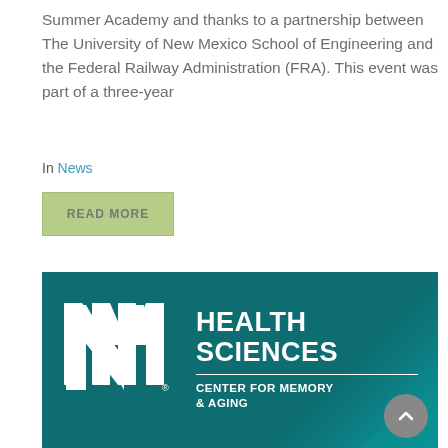Summer Academy and thanks to a partnership between The University of New Mexico School of Engineering and the Federal Railway Administration (FRA). This event was part of a three-year
In News
READ MORE
[Figure (logo): UNM Health Sciences Center for Memory & Aging logo on a dark teal background. The NM logo (interlocking N and M letters) is on the left, with 'HEALTH SCIENCES' in large bold white text on the right, a horizontal rule below it, and 'CENTER FOR MEMORY & AGING' in smaller bold white text.]